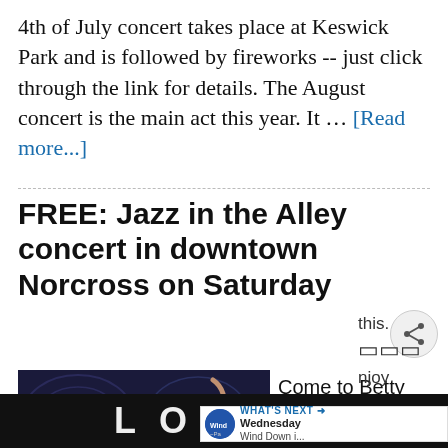4th of July concert takes place at Keswick Park and is followed by fireworks -- just click through the link for details. The August concert is the main act this year. It … [Read more...]
FREE: Jazz in the Alley concert in downtown Norcross on Saturday
[Figure (illustration): Dark blue decorative background with a saxophone illustration and bold pink text reading JAZZ]
Come to Betty Mauldin select